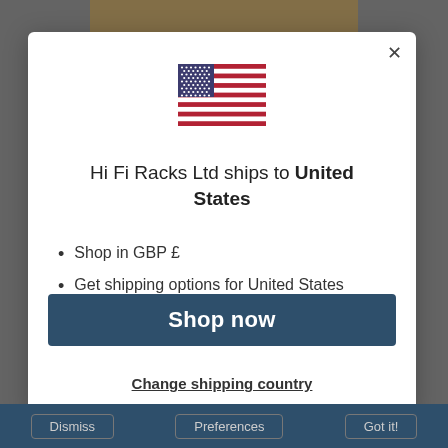[Figure (illustration): US flag SVG illustration centered in modal dialog]
Hi Fi Racks Ltd ships to United States
Shop in GBP £
Get shipping options for United States
Shop now
Change shipping country